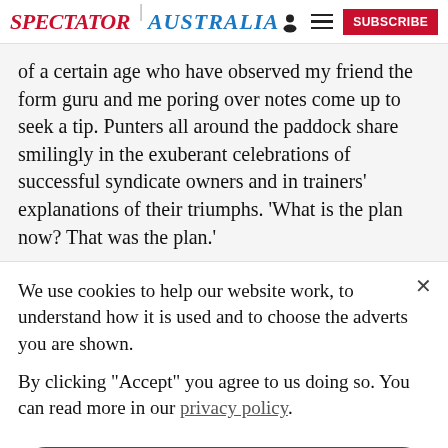SPECTATOR | AUSTRALIA
of a certain age who have observed my friend the form guru and me poring over notes come up to seek a tip. Punters all around the paddock share smilingly in the exuberant celebrations of successful syndicate owners and in trainers' explanations of their triumphs. 'What is the plan now? That was the plan.'
We use cookies to help our website work, to understand how it is used and to choose the adverts you are shown.

By clicking "Accept" you agree to us doing so. You can read more in our privacy policy.
Accept